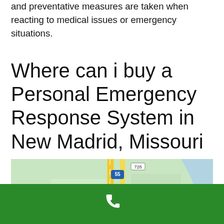and preventative measures are taken when reacting to medical issues or emergency situations.
Where can i buy a Personal Emergency Response System in New Madrid, Missouri
[Figure (map): Google map showing New Madrid, Missouri area with roads including Interstate 55, Route 728, Route 732, and Route U. Shows towns of North Lilbourn and Lilbourn.]
[Figure (other): Green footer bar with white phone icon]